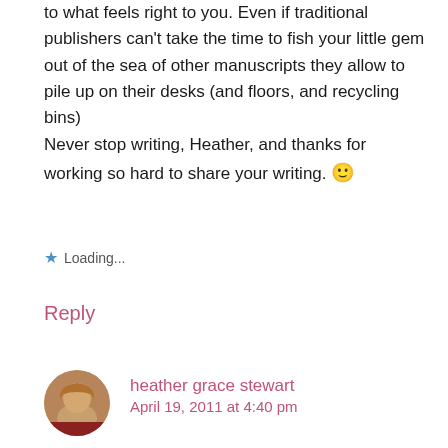to what feels right to you. Even if traditional publishers can't take the time to fish your little gem out of the sea of other manuscripts they allow to pile up on their desks (and floors, and recycling bins)
Never stop writing, Heather, and thanks for working so hard to share your writing. 🙂
★ Loading...
Reply
heather grace stewart
April 19, 2011 at 4:40 pm